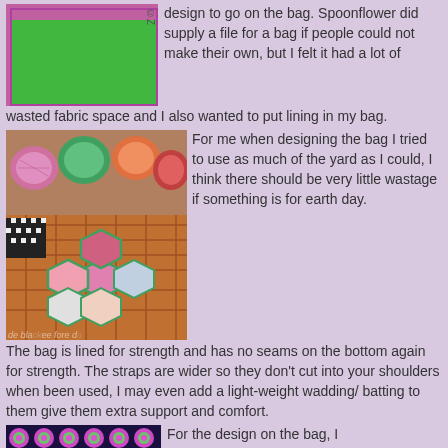[Figure (illustration): Illustration of a bag design with pink/purple border and green inner rectangle, with a copyright label on the side.]
design to go on the bag. Spoonflower did supply a file for a bag if people could not make their own, but I felt it had a lot of wasted fabric space and I also wanted to put lining in my bag.
[Figure (photo): Photo showing crochet thread balls in pink, green, orange and red colors, along with hexagon fabric pieces (grandmother's flower garden quilt pattern) in various prints arranged on a plaid fabric background.]
For me when designing the bag I tried to use as much of the yard as I could, I think there should be very little wastage if something is for earth day. The bag is lined for strength and has no seams on the bottom again for strength. The straps are wider so they don't cut into your shoulders when been used, I may even add a light-weight wadding/ batting to them give them extra support and comfort.
[Figure (photo): Photo showing a colorful patterned fabric with repeated hexagon/flower motifs in pink, green, and purple on a dark background.]
For the design on the bag, I